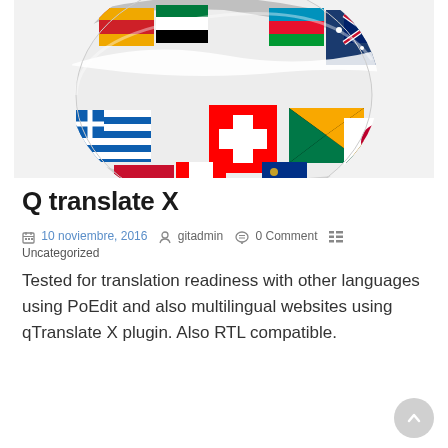[Figure (illustration): A globe-shaped sphere composed of many international flags arranged in a ribbon/swirl pattern, shown on a light gray background.]
Q translate X
10 noviembre, 2016  gitadmin  0 Comment  Uncategorized
Tested for translation readiness with other languages using PoEdit and also multilingual websites using qTranslate X plugin. Also RTL compatible.